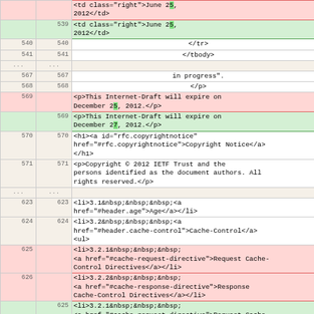| line1 | line2 | content |
| --- | --- | --- |
|  |  | <td class="right">June 25, 2012</td> |
| 539 |  | <td class="right">June 25, 2012</td> |
| 540 | 540 | </tr> |
| 541 | 541 | </tbody> |
| ... | ... |  |
| 567 | 567 | in progress". |
| 568 | 568 | </p> |
| 569 |  | <p>This Internet-Draft will expire on December 25, 2012.</p> |
|  | 569 | <p>This Internet-Draft will expire on December 27, 2012.</p> |
| 570 | 570 | <h1><a id="rfc.copyrightnotice" href="#rfc.copyrightnotice">Copyright Notice</a></h1> |
| 571 | 571 | <p>Copyright © 2012 IETF Trust and the persons identified as the document authors. All rights reserved.</p> |
| ... | ... |  |
| 623 | 623 | <li>3.1&nbsp;&nbsp;&nbsp;<a href="#header.age">Age</a></li> |
| 624 | 624 | <li>3.2&nbsp;&nbsp;&nbsp;<a href="#header.cache-control">Cache-Control</a><ul> |
| 625 |  | <li>3.2.1&nbsp;&nbsp;&nbsp;<a href="#cache-request-directive">Request Cache-Control Directives</a></li> |
| 626 |  | <li>3.2.2&nbsp;&nbsp;&nbsp;<a href="#cache-response-directive">Response Cache-Control Directives</a></li> |
|  | 625 | <li>3.2.1&nbsp;&nbsp;&nbsp;<a href="#cache-request-directive">Request Cache-Control Directives</a><ul> |
|  | 626 |  |